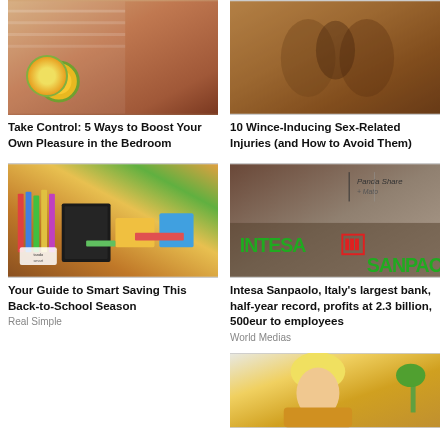[Figure (photo): Woman in bedroom near window with sunlight]
Take Control: 5 Ways to Boost Your Own Pleasure in the Bedroom
[Figure (photo): Ancient stone temple carvings of figures]
10 Wince-Inducing Sex-Related Injuries (and How to Avoid Them)
[Figure (photo): School supplies: colored pencils, notebooks, notebooks on a wooden surface]
Your Guide to Smart Saving This Back-to-School Season
Real Simple
[Figure (photo): Intesa Sanpaolo bank sign on building facade]
Intesa Sanpaolo, Italy’s largest bank, half-year record, profits at 2.3 billion, 500eur to employees
World Medias
[Figure (photo): Blonde woman in yellow sweater reading or using tablet]